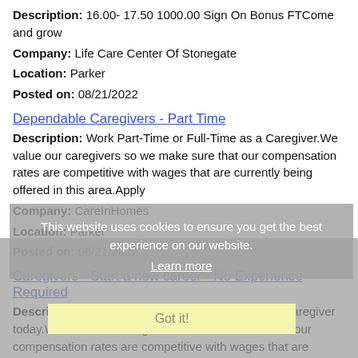Description: 16.00- 17.50 1000.00 Sign On Bonus FTCome and grow
Company: Life Care Center Of Stonegate
Location: Parker
Posted on: 08/21/2022
Dependable Caregivers - Part Time
Description: Work Part-Time or Full-Time as a Caregiver.We value our caregivers so we make sure that our compensation rates are competitive with wages that are currently being offered in this area.Apply
Company: CareInHomes
Location: Parker
Posted on: 08/21/2022
Caregivers - Start a new career - No Experience Required
Description: Looking for part-time roles Become a caregiver today.We value our caregivers so we make sure that our compensation rates are competitive with wages that are currently being offered in this
Company: CareInHomes
Location: Parker
Posted on: 08/21/2022
This website uses cookies to ensure you get the best experience on our website.
Learn more
Got it!